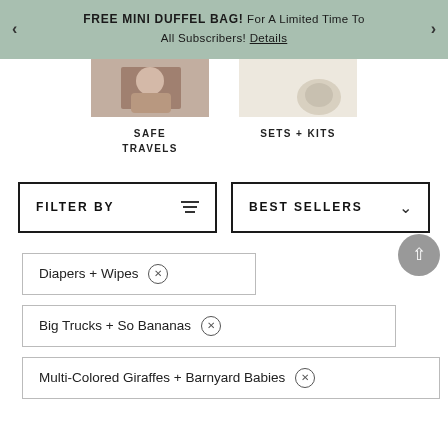FREE MINI DUFFEL BAG! For A Limited Time To All Subscribers! Details
[Figure (photo): Two category thumbnails: 'Safe Travels' showing a child travel photo, and 'Sets + Kits' showing a product on beige background]
SAFE TRAVELS
SETS + KITS
FILTER BY
BEST SELLERS
Diapers + Wipes ⊗
Big Trucks + So Bananas ⊗
Multi-Colored Giraffes + Barnyard Babies ⊗